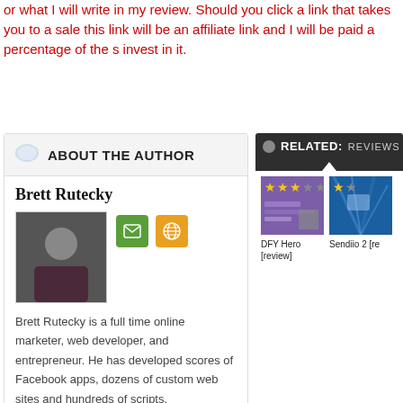or what I will write in my review. Should you click a link that takes you to a sale this link will be an affiliate link and I will be paid a percentage of the s invest in it.
ABOUT THE AUTHOR
Brett Rutecky
Brett Rutecky is a full time online marketer, web developer, and entrepreneur. He has developed scores of Facebook apps, dozens of custom web sites and hundreds of scripts.
More articles by Brett Rutecky »
RELATED: REVIEWS
DFY Hero [review]
Sendiio 2 [re